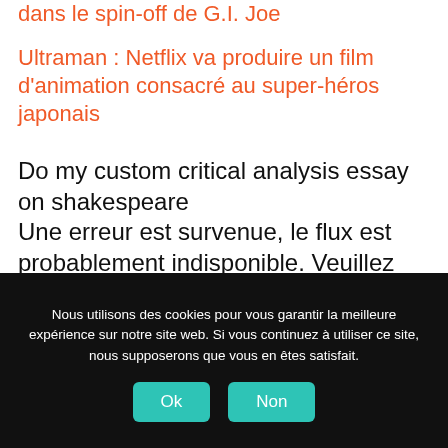dans le spin-off de G.I. Joe
Ultraman : Netflix va produire un film d'animation consacré au super-héros japonais
Do my custom critical analysis essay on shakespeare
Une erreur est survenue, le flux est probablement indisponible. Veuillez réessayer plus tard.
Nous utilisons des cookies pour vous garantir la meilleure expérience sur notre site web. Si vous continuez à utiliser ce site, nous supposerons que vous en êtes satisfait.
Ok   Non